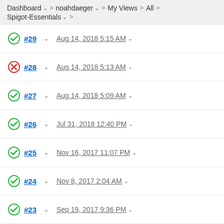Dashboard > noahdaeger > My Views > All > Spigot-Essentials
#29 Aug 14, 2018 5:15 AM
#28 Aug 14, 2018 5:13 AM
#27 Aug 14, 2018 5:09 AM
#26 Jul 31, 2018 12:40 PM
#25 Nov 16, 2017 11:07 PM
#24 Nov 8, 2017 2:04 AM
#23 Sep 19, 2017 9:36 PM
#22 Jul 7, 2017 5:12 AM
#21 Apr 21, 2017 5:07 AM
#20 Feb 21, 2017 9:32 PM
#19 Feb 19, 2017 10:41 PM